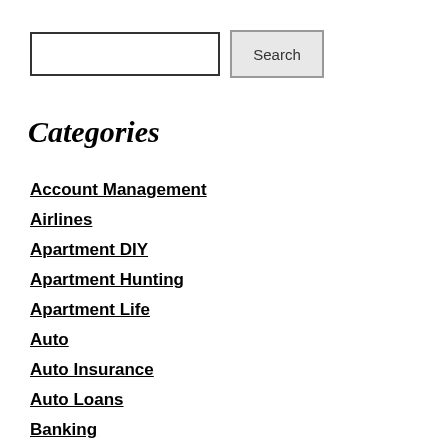[Figure (screenshot): Search input box and Search button]
Categories
Account Management
Airlines
Apartment DIY
Apartment Hunting
Apartment Life
Auto
Auto Insurance
Auto Loans
Banking